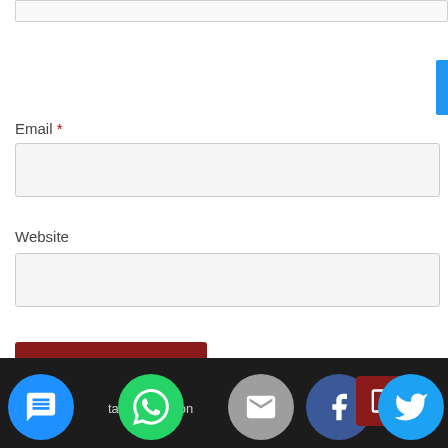Email *
Website
Post Comment
tact I nation